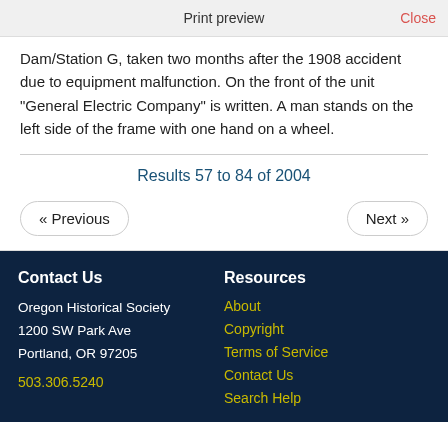Print preview    Close
Dam/Station G, taken two months after the 1908 accident due to equipment malfunction. On the front of the unit “General Electric Company” is written. A man stands on the left side of the frame with one hand on a wheel.
Results 57 to 84 of 2004
« Previous    Next »
Contact Us
Oregon Historical Society
1200 SW Park Ave
Portland, OR 97205
503.306.5240
Resources
About
Copyright
Terms of Service
Contact Us
Search Help